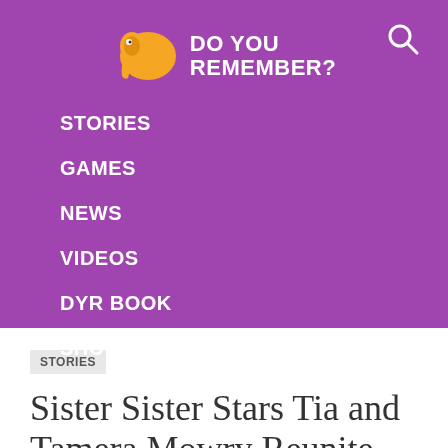DO YOU REMEMBER?
STORIES
GAMES
NEWS
VIDEOS
DYR BOOK
SHOP DYR
STORIES
Sister Sister Stars Tia and Tamera Mowry Reunite With